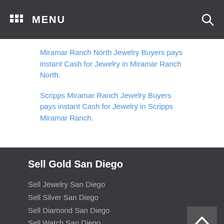MENU
Miramar Ranch North Jewelry Buyers pays instant Cash for Jewelry in Miramar Ranch North.
Scripps Miramar Ranch Jewelry Buyers pays instant Cash for Jewelry in Scripps Miramar Ranch.
Sell Gold San Diego
Sell Jewelry San Diego
Sell Silver San Diego
Sell Diamond San Diego
Sell Watch San Diego
Sell Coins San Diego
Sell Silverset San Diego
Cash for Gold San Diego